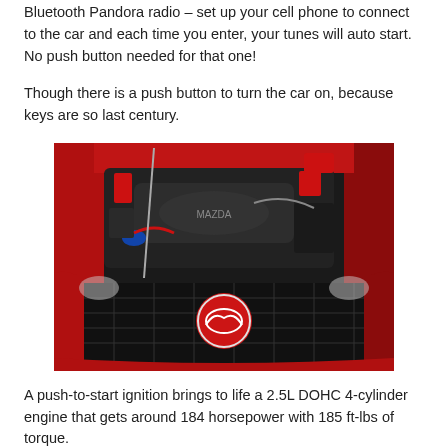Bluetooth Pandora radio – set up your cell phone to connect to the car and each time you enter, your tunes will auto start. No push button needed for that one!
Though there is a push button to turn the car on, because keys are so last century.
[Figure (photo): Red Mazda car with hood open showing the 2.5L DOHC 4-cylinder engine, front grille and Mazda logo visible]
A push-to-start ignition brings to life a 2.5L DOHC 4-cylinder engine that gets around 184 horsepower with 185 ft-lbs of torque.